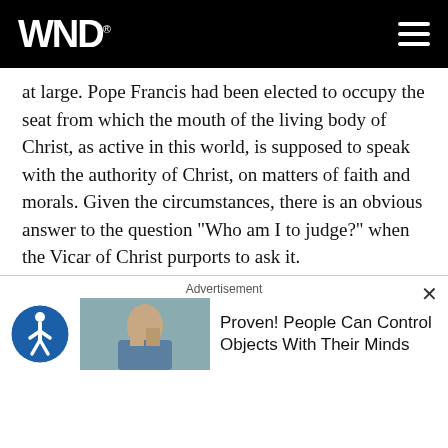WND
at large. Pope Francis had been elected to occupy the seat from which the mouth of the living body of Christ, as active in this world, is supposed to speak with the authority of Christ, on matters of faith and morals. Given the circumstances, there is an obvious answer to the question "Who am I to judge?" when the Vicar of Christ purports to ask it.
TRENDING: 'This is not doctored': See IRS recruit 'Police Academy'-style armed agents
There is no doubt that Pope Francis sowed confusion
Advertisement
Proven! People Can Control Objects With Their Minds